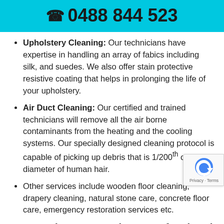0488 844 523
Upholstery Cleaning: Our technicians have expertise in handling an array of fabics including silk, and suedes. We also offer stain protective resistive coating that helps in prolonging the life of your upholstery.
Air Duct Cleaning: Our certified and trained technicians will remove all the air borne contaminants from the heating and the cooling systems. Our specially designed cleaning protocol is capable of picking up debris that is 1/200th of the diameter of human hair.
Other services include wooden floor cleaning, drapery cleaning, natural stone care, concrete floor care, emergency restoration services etc.
Carpet Cleaners Wasleys: Professional Service Providers
SK Carpet Cleaning Wasleys is one of the leading